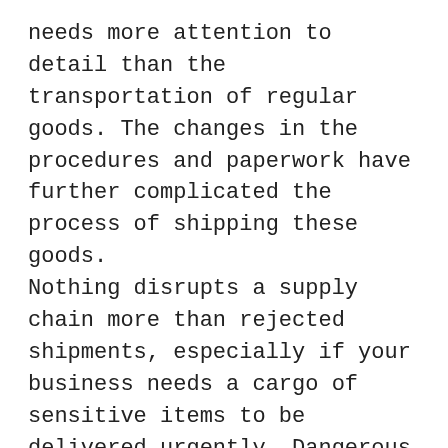needs more attention to detail than the transportation of regular goods. The changes in the procedures and paperwork have further complicated the process of shipping these goods. Nothing disrupts a supply chain more than rejected shipments, especially if your business needs a cargo of sensitive items to be delivered urgently. Dangerous goods freight is subject to strict customs and regulatory requirement. As a matter of fact, even a small typographical error in the documentation can lead to the rejection of the cargo by the transport authorities, hence it's important to partner with a 3PL provider who will take care of all your requirements from moving the consignment